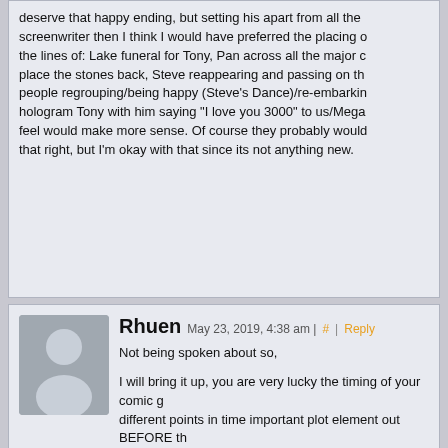deserve that happy ending, but setting his apart from all the screenwriter then I think I would have preferred the placing of the lines of: Lake funeral for Tony, Pan across all the major c place the stones back, Steve reappearing and passing on the people regrouping/being happy (Steve's Dance)/re-embarkin hologram Tony with him saying "I love you 3000" to us/Mega feel would make more sense. Of course they probably would that right, but I'm okay with that since its not anything new.
Rhuen
May 23, 2019, 4:38 am | # | Reply
Not being spoken about so,
I will bring it up, you are very lucky the timing of your comic g different points in time important plot element out BEFORE t you?* types probably would have flooded your comment sec
As for the movie its self, I liked it, used a descent version of t they pointed out being logical messes. I am disappointed the stone theory (in comics it can trap people inside it…so I thou
Captain Marvel makes sense,
1: real world, actress has to have down time, her movie cam was even in the movie as much as she was *think Black Pan
2: The rest of the galaxy experienced the same thing.
A nitpick…sure is convienent…for a story telling perspective got snapped. That said, husbands and wives sure, but also t can be worked around, but for children, especially elementar came back and your friends who were 15 are now 20, those